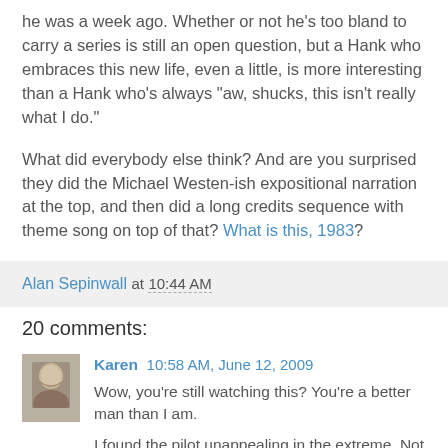he was a week ago. Whether or not he's too bland to carry a series is still an open question, but a Hank who embraces this new life, even a little, is more interesting than a Hank who's always "aw, shucks, this isn't really what I do."
What did everybody else think? And are you surprised they did the Michael Westen-ish expositional narration at the top, and then did a long credits sequence with theme song on top of that? What is this, 1983?
Alan Sepinwall at 10:44 AM
20 comments:
Karen 10:58 AM, June 12, 2009
Wow, you're still watching this? You're a better man than I am.

I found the pilot unappealing in the extreme. Not only was Feuerstein's character smug and self-righteous, and his